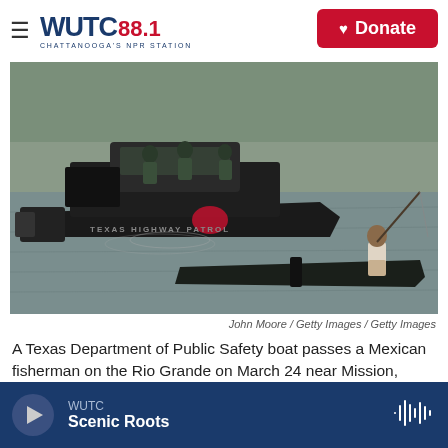WUTC 88.1 Chattanooga's NPR Station | Donate
[Figure (photo): A Texas Department of Public Safety (Texas Highway Patrol) boat on the Rio Grande near Mission, Texas, passing a Mexican fisherman standing on a small flat boat with a fishing rod. The patrol boat is large, dark/black, and filled with personnel in military-style gear.]
John Moore / Getty Images / Getty Images
A Texas Department of Public Safety boat passes a Mexican fisherman on the Rio Grande on March 24 near Mission, Texas. Texas DPS troopers are
WUTC Scenic Roots